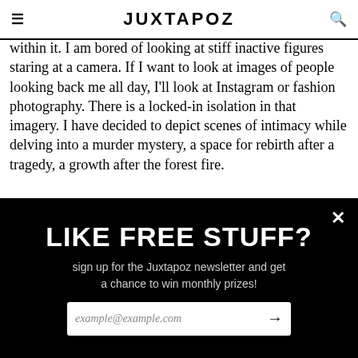JUXTAPOZ
within it. I am bored of looking at stiff inactive figures staring at a camera. If I want to look at images of people looking back me all day, I'll look at Instagram or fashion photography. There is a locked-in isolation in that imagery. I have decided to depict scenes of intimacy while delving into a murder mystery, a space for rebirth after a tragedy, a growth after the forest fire.
[Figure (illustration): Black and white illustration showing a circular badge/emblem with text 'RIFLE ASSO' and a figure with flowing hair beneath, rendered in bold brushstroke style]
LIKE FREE STUFF?
sign up for the Juxtapoz newsletter and get a chance to win monthly prizes!
example@example.com